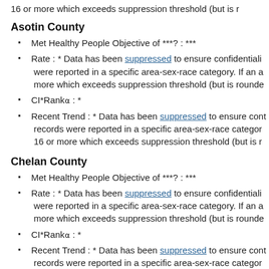16 or more which exceeds suppression threshold (but is r
Asotin County
Met Healthy People Objective of ***? : ***
Rate : * Data has been suppressed to ensure confidentiali were reported in a specific area-sex-race category. If an a more which exceeds suppression threshold (but is rounde
CI*Rankα : *
Recent Trend : * Data has been suppressed to ensure cont records were reported in a specific area-sex-race categor 16 or more which exceeds suppression threshold (but is r
Chelan County
Met Healthy People Objective of ***? : ***
Rate : * Data has been suppressed to ensure confidentiali were reported in a specific area-sex-race category. If an a more which exceeds suppression threshold (but is rounde
CI*Rankα : *
Recent Trend : * Data has been suppressed to ensure cont records were reported in a specific area-sex-race categor 16 or more which exceeds suppression threshold (but is r
Clallam C...